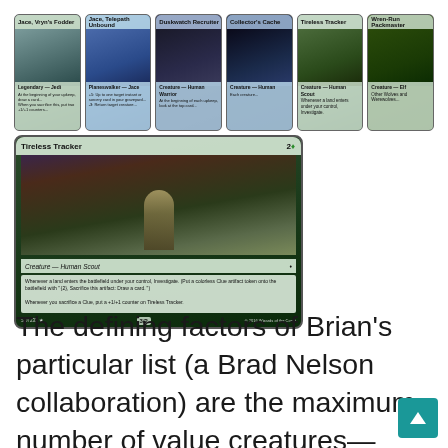[Figure (illustration): A collage of Magic: The Gathering card images. Top row shows 6 smaller cards: two green/teal colored cards on the left, two blue/dark cards in the middle, and two green cards on the right. Bottom left shows a large featured card 'Tireless Tracker' — a green creature card with a human scout warrior in a forest setting, showing card text about Investigate and Clue tokens.]
The defining factors of Brian's particular list (a Brad Nelson collaboration) are the maximum number of value creatures—Jace, Vryn's Prodigy, Duskwatch Recruiter,